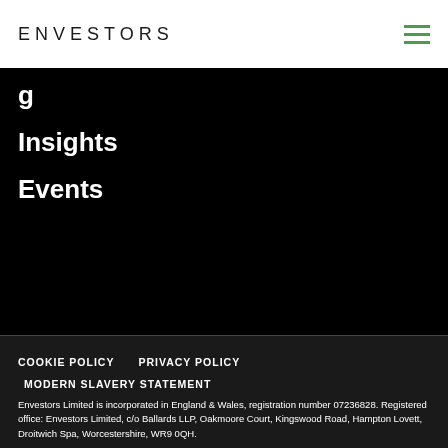ENVESTORS
g…
Insights
Events
COOKIE POLICY    PRIVACY POLICY
MODERN SLAVERY STATEMENT
Envestors Limited is incorporated in England & Wales, registration number 07236828. Registered office: Envestors Limited, c/o Ballards LLP, Oakmoore Court, Kingswood Road, Hampton Lovett, Droitwich Spa, Worcestershire, WR9 0QH.
Envestors Limited is authorised and regulated by the Financial Conduct Authority (FCA)